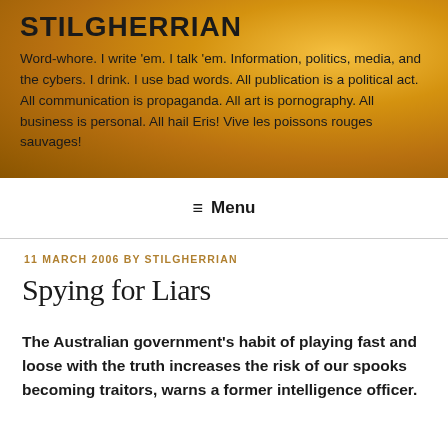STILGHERRIAN
Word-whore. I write 'em. I talk 'em. Information, politics, media, and the cybers. I drink. I use bad words. All publication is a political act. All communication is propaganda. All art is pornography. All business is personal. All hail Eris! Vive les poissons rouges sauvages!
Menu
11 MARCH 2006 BY STILGHERRIAN
Spying for Liars
The Australian government's habit of playing fast and loose with the truth increases the risk of our spooks becoming traitors, warns a former intelligence officer.